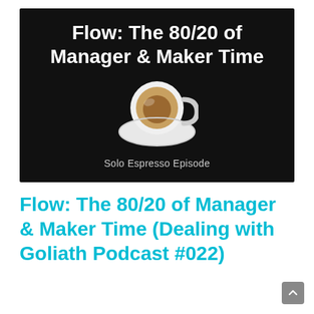[Figure (illustration): Dark/black background thumbnail image showing a white espresso cup on a saucer from above, with bold white title text 'Flow: The 80/20 of Manager & Maker Time' and subtitle 'Solo Espresso Episode']
Flow: The 80/20 of Manager & Maker Time (Dealing with Goliath Podcast #022)